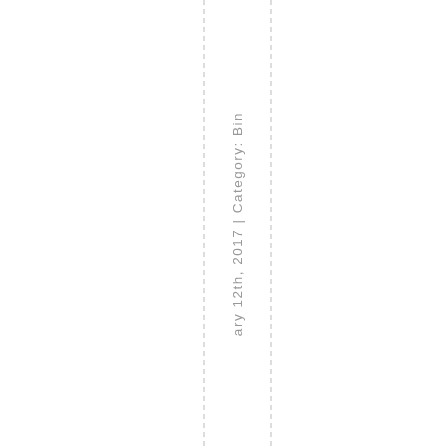ary 12th, 2017 | Category: Bin